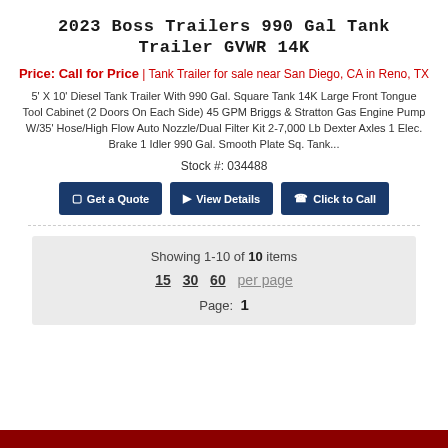2023 Boss Trailers 990 Gal Tank Trailer GVWR 14K
Price: Call for Price | Tank Trailer for sale near San Diego, CA in Reno, TX
5' X 10' Diesel Tank Trailer With 990 Gal. Square Tank 14K Large Front Tongue Tool Cabinet (2 Doors On Each Side) 45 GPM Briggs & Stratton Gas Engine Pump W/35' Hose/High Flow Auto Nozzle/Dual Filter Kit 2-7,000 Lb Dexter Axles 1 Elec. Brake 1 Idler 990 Gal. Smooth Plate Sq. Tank...
Stock #: 034488
Get a Quote | View Details | Click to Call
Showing 1-10 of 10 items
15  30  60  per page
Page: 1